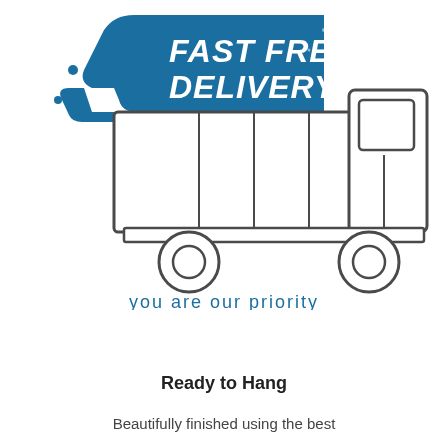[Figure (illustration): Fast Free Delivery illustration: a delivery truck with a teal/dark-blue speed-swoosh banner reading 'FAST FREE DELIVERY' in bold white italic text, with tagline 'you are our priority' below the truck in teal text.]
Ready to Hang
Beautifully finished using the best